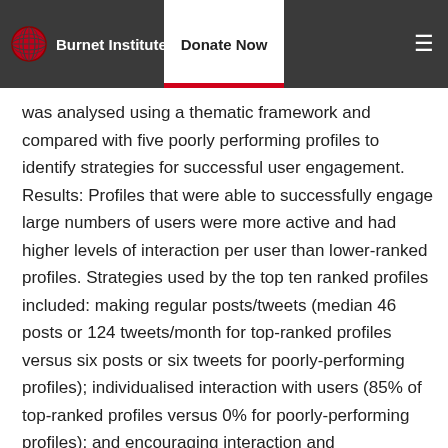Burnet Institute | Donate Now
was analysed using a thematic framework and compared with five poorly performing profiles to identify strategies for successful user engagement. Results: Profiles that were able to successfully engage large numbers of users were more active and had higher levels of interaction per user than lower-ranked profiles. Strategies used by the top ten ranked profiles included: making regular posts/tweets (median 46 posts or 124 tweets/month for top-ranked profiles versus six posts or six tweets for poorly-performing profiles); individualised interaction with users (85% of top-ranked profiles versus 0% for poorly-performing profiles); and encouraging interaction and conversation by posing questions (100% versus 40%). Uploading multimedia material (80% versus 30%) and highlighting celebrity involvement (70% versus 10%) were also key strategies